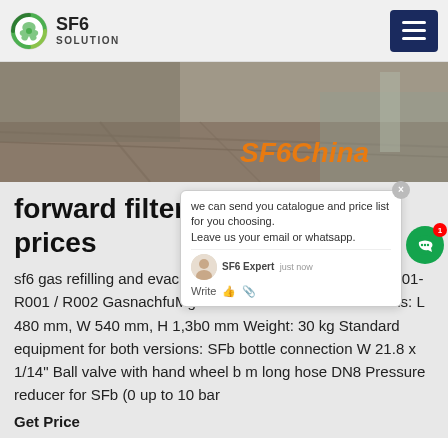SF6 SOLUTION
[Figure (photo): SF6China banner image showing industrial outdoor area with pavement and equipment, orange italic text 'SF6China' in bottom right]
forward filter SF6 tec... prices
sf6 gas refilling and evacuating devi... refilling device b 3-001-R001 / R002 GasnachfuMgerat Technical data: Dimensions: L 480 mm, W 540 mm, H 1,3b0 mm Weight: 30 kg Standard equipment for both versions: SFb bottle connection W 21.8 x 1/14" Ball valve with hand wheel b m long hose DN8 Pressure reducer for SFb (0 up to 10 bar
Get Price